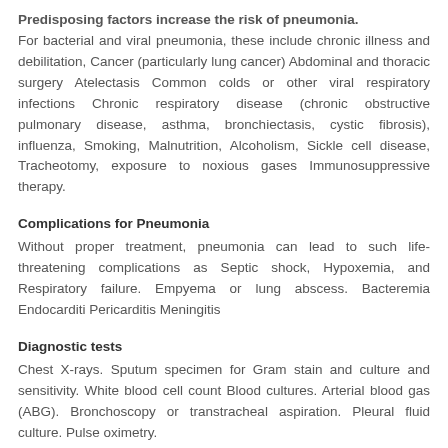Predisposing factors increase the risk of pneumonia. For bacterial and viral pneumonia, these include chronic illness and debilitation, Cancer (particularly lung cancer) Abdominal and thoracic surgery Atelectasis Common colds or other viral respiratory infections Chronic respiratory disease (chronic obstructive pulmonary disease, asthma, bronchiectasis, cystic fibrosis), influenza, Smoking, Malnutrition, Alcoholism, Sickle cell disease, Tracheotomy, exposure to noxious gases Immunosuppressive therapy.
Complications for Pneumonia
Without proper treatment, pneumonia can lead to such life-threatening complications as Septic shock, Hypoxemia, and Respiratory failure. Empyema or lung abscess. Bacteremia Endocarditi Pericarditis Meningitis
Diagnostic tests
Chest X-rays. Sputum specimen for Gram stain and culture and sensitivity. White blood cell count Blood cultures. Arterial blood gas (ABG). Bronchoscopy or transtracheal aspiration. Pleural fluid culture. Pulse oximetry.